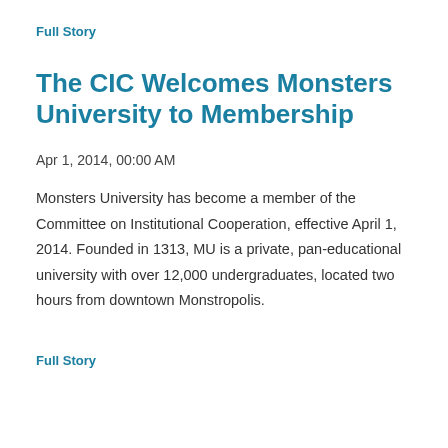Full Story
The CIC Welcomes Monsters University to Membership
Apr 1, 2014, 00:00 AM
Monsters University has become a member of the Committee on Institutional Cooperation, effective April 1, 2014. Founded in 1313, MU is a private, pan-educational university with over 12,000 undergraduates, located two hours from downtown Monstropolis.
Full Story